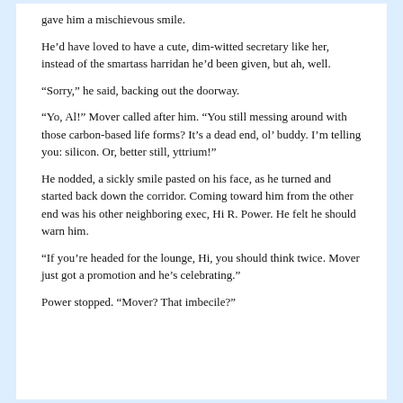gave him a mischievous smile.
He’d have loved to have a cute, dim-witted secretary like her, instead of the smartass harridan he’d been given, but ah, well.
“Sorry,” he said, backing out the doorway.
“Yo, Al!” Mover called after him. “You still messing around with those carbon-based life forms? It’s a dead end, ol’ buddy. I’m telling you: silicon. Or, better still, yttrium!”
He nodded, a sickly smile pasted on his face, as he turned and started back down the corridor. Coming toward him from the other end was his other neighboring exec, Hi R. Power. He felt he should warn him.
“If you’re headed for the lounge, Hi, you should think twice. Mover just got a promotion and he’s celebrating.”
Power stopped. “Mover? That imbecile?”